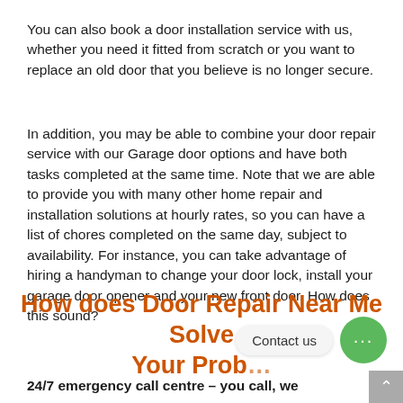You can also book a door installation service with us, whether you need it fitted from scratch or you want to replace an old door that you believe is no longer secure.
In addition, you may be able to combine your door repair service with our Garage door options and have both tasks completed at the same time. Note that we are able to provide you with many other home repair and installation solutions at hourly rates, so you can have a list of chores completed on the same day, subject to availability. For instance, you can take advantage of hiring a handyman to change your door lock, install your garage door opener and your new front door. How does this sound?
How does Door Repair Near Me Solve Your Prob...
24/7 emergency call centre – you call, we